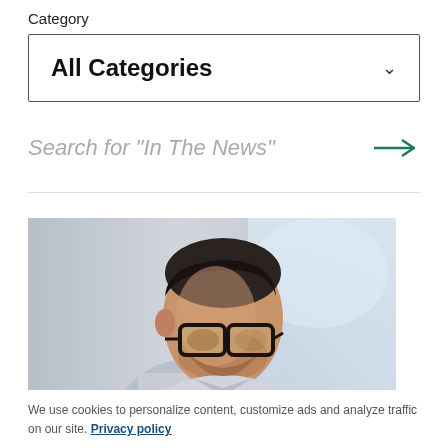Category
All Categories
Search for "In The News"
[Figure (photo): A man with glasses looking down, photographed in an office environment with blurred background]
We use cookies to personalize content, customize ads and analyze traffic on our site. Privacy policy